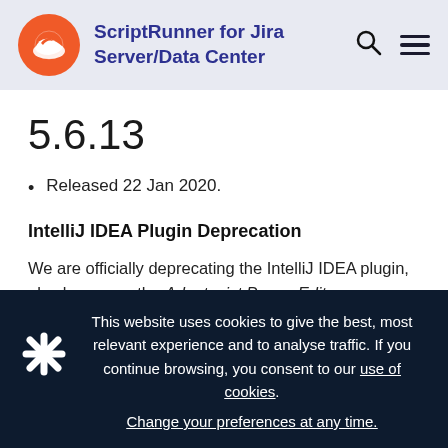ScriptRunner for Jira Server/Data Center
5.6.13
Released 22 Jan 2020.
IntelliJ IDEA Plugin Deprecation
We are officially deprecating the IntelliJ IDEA plugin, also known as the Adaptavist Power Editor.
This website uses cookies to give the best, most relevant experience and to analyse traffic. If you continue browsing, you consent to our use of cookies. Change your preferences at any time.